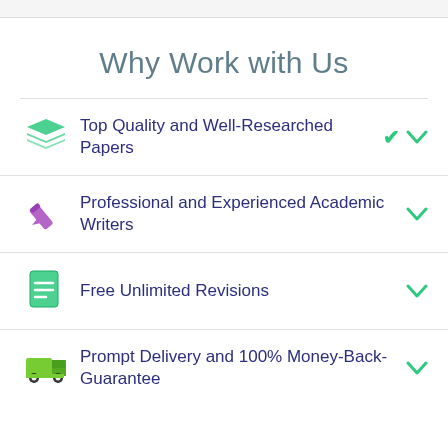Why Work with Us
Top Quality and Well-Researched Papers
Professional and Experienced Academic Writers
Free Unlimited Revisions
Prompt Delivery and 100% Money-Back-Guarantee